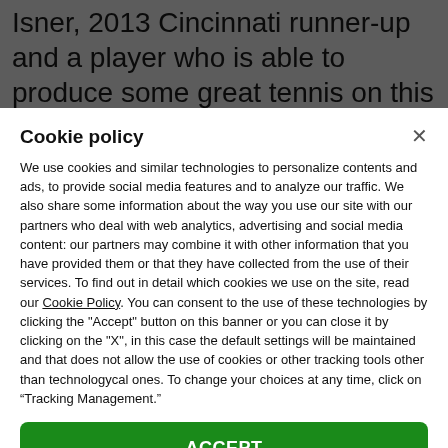Isner, 2013 Cincinnati runner-up and a player who is able to produce some great tennis on this
Cookie policy
We use cookies and similar technologies to personalize contents and ads, to provide social media features and to analyze our traffic. We also share some information about the way you use our site with our partners who deal with web analytics, advertising and social media content: our partners may combine it with other information that you have provided them or that they have collected from the use of their services. To find out in detail which cookies we use on the site, read our Cookie Policy. You can consent to the use of these technologies by clicking the "Accept" button on this banner or you can close it by clicking on the "X", in this case the default settings will be maintained and that does not allow the use of cookies or other tracking tools other than technologycal ones. To change your choices at any time, click on “Tracking Management.”
ACCEPT
TRACKERS MANAGEMENT
Show vendors | Show purposes